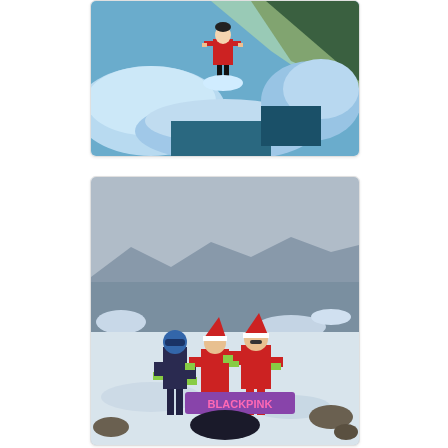[Figure (photo): A person in a red jacket standing on blue glacial ice chunks with sunlight filtering through; icy landscape with water visible below.]
[Figure (photo): Three people on an icy, snowy shoreline with a grey sea and icebergs in the background. Two are wearing red jumpsuits and Santa hats, one in dark clothing with a blue helmet. They are holding a purple BLACKPINK banner/scarf.]